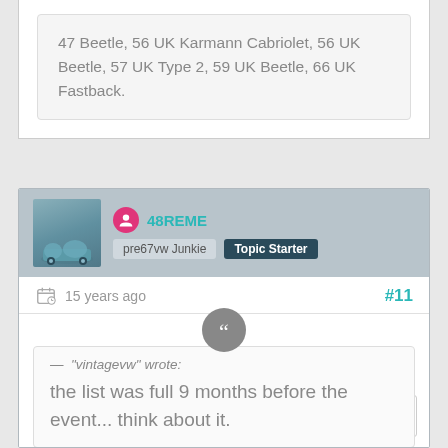47 Beetle, 56 UK Karmann Cabriolet, 56 UK Beetle, 57 UK Type 2, 59 UK Beetle, 66 UK Fastback.
48REME
pre67vw Junkie   Topic Starter
15 years ago
#11
— "vintagevw" wrote: the list was full 9 months before the event... think about it.
Really? I wonder why there was still loads of space at the back of the field. I